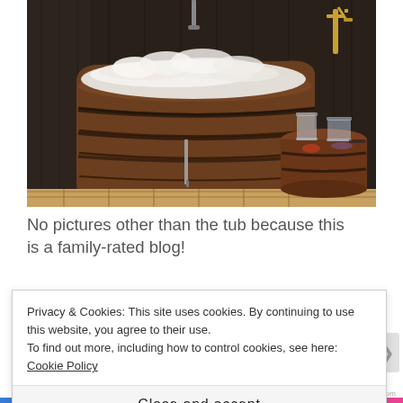[Figure (photo): Wooden barrel bathtub filled with white foamy water/bubbles in a dark wood-paneled bathroom, with a smaller wooden barrel serving as a side table holding two glass cups. Gold faucet fixture visible on the right wall. Wooden slatted floor beneath.]
No pictures other than the tub because this is a family-rated blog!
The bar underneath on the bottom of this old...
Privacy & Cookies: This site uses cookies. By continuing to use this website, you agree to their use.
To find out more, including how to control cookies, see here: Cookie Policy
Close and accept